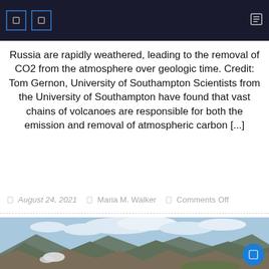Navigation bar with icons
Russia are rapidly weathered, leading to the removal of CO2 from the atmosphere over geologic time. Credit: Tom Gernon, University of Southampton Scientists from the University of Southampton have found that vast chains of volcanoes are responsible for both the emission and removal of atmospheric carbon [...]
August 24, 2021   Maria M. Walker   Comments Off
[Figure (photo): Aerial view of mountain ranges with snow patches, green valleys, and a partly cloudy sky — volcanic mountain landscape.]